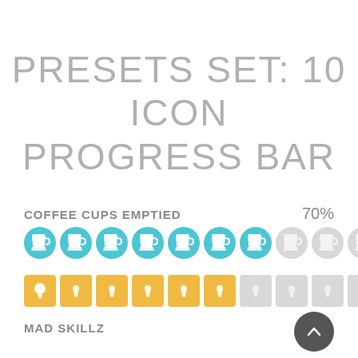PRESETS SET: 10 ICON PROGRESS BAR
COFFEE CUPS EMPTIED    70%
[Figure (infographic): Icon progress bar with 10 coffee cup circles: 7 filled teal and 3 empty grey, representing 70% progress]
[Figure (infographic): Icon progress bar with 10 lightbulb squares: 6 filled amber/yellow and 4 empty grey, representing 53% progress (Mad Skillz)]
MAD SKILLZ    53%